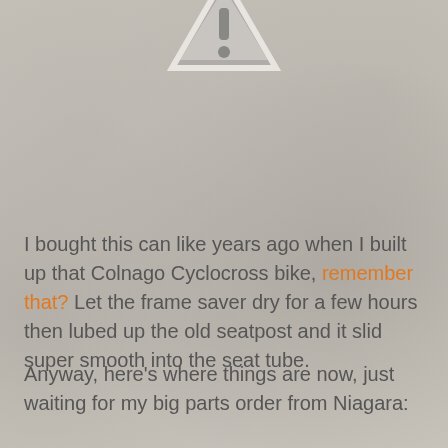[Figure (illustration): Warning triangle icon with exclamation mark, gray colored, partially visible at the top of the page]
I bought this can like years ago when I built up that Colnago Cyclocross bike, remember that? Let the frame saver dry for a few hours then lubed up the old seatpost and it slid super smooth into the seat tube.
Anyway, here's where things are now, just waiting for my big parts order from Niagara: